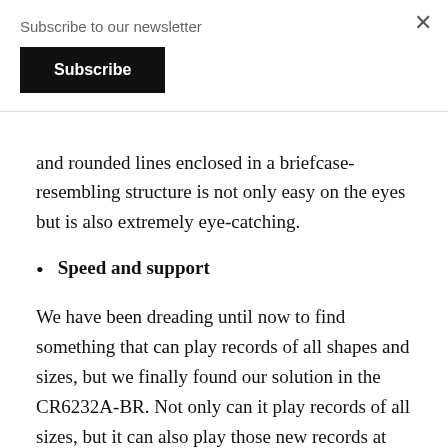Subscribe to our newsletter
and rounded lines enclosed in a briefcase-resembling structure is not only easy on the eyes but is also extremely eye-catching.
Speed and support
We have been dreading until now to find something that can play records of all shapes and sizes, but we finally found our solution in the CR6232A-BR. Not only can it play records of all sizes, but it can also play those new records at 78RPM apart from 45 and 33-1/3RPM ones.
Good vibration management